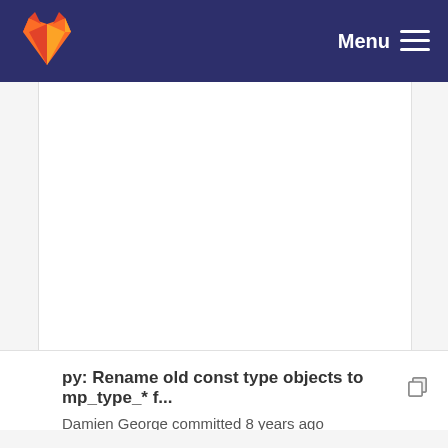Menu
[Figure (screenshot): White content area / blank page body showing a GitLab repository file view with no visible content]
py: Rename old const type objects to mp_type_* f... Damien George committed 8 years ago